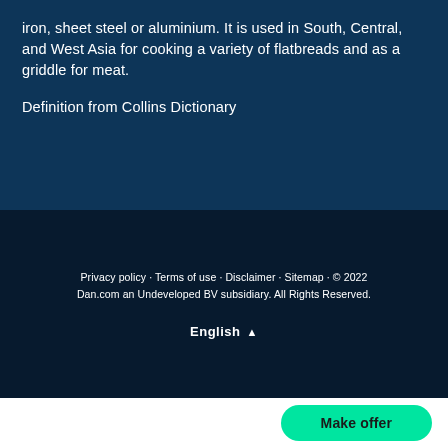iron, sheet steel or aluminium. It is used in South, Central, and West Asia for cooking a variety of flatbreads and as a griddle for meat.
Definition from Collins Dictionary
Privacy policy · Terms of use · Disclaimer · Sitemap · © 2022 Dan.com an Undeveloped BV subsidiary. All Rights Reserved.
English ▲
Make offer